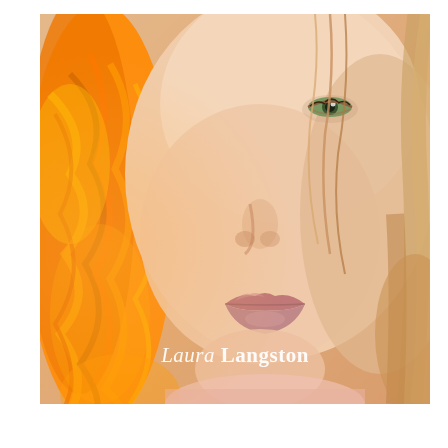[Figure (photo): Close-up portrait of a young woman with orange/red braids on the left side and natural strawberry blonde hair on the right, one green eye visible, full lips with natural makeup, warm golden light, wearing a light pink top. Text overlay reads 'Laura Langston' in white serif font near the bottom center.]
Laura Langston